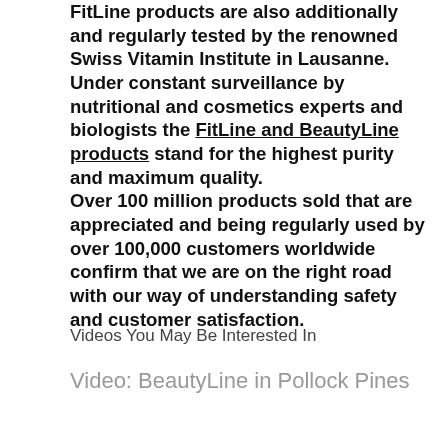FitLine products are also additionally and regularly tested by the renowned Swiss Vitamin Institute in Lausanne. Under constant surveillance by nutritional and cosmetics experts and biologists the FitLine and BeautyLine products stand for the highest purity and maximum quality. Over 100 million products sold that are appreciated and being regularly used by over 100,000 customers worldwide confirm that we are on the right road with our way of understanding safety and customer satisfaction.
Videos You May Be Interested In
Video: BeautyLine in Pollock Pines